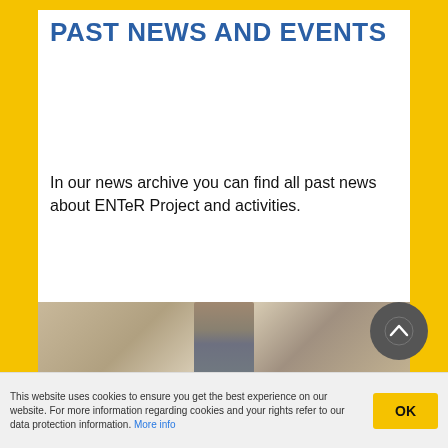PAST NEWS AND EVENTS
In our news archive you can find all past news about ENTeR Project and activities.
[Figure (photo): Partial photo of a person in a suit/tie, cropped at bottom of page]
This website uses cookies to ensure you get the best experience on our website. For more information regarding cookies and your rights refer to our data protection information. More info